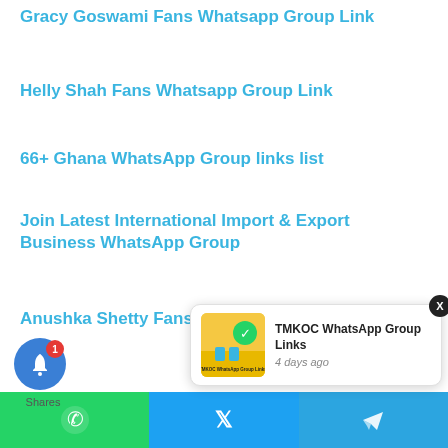Gracy Goswami Fans Whatsapp Group Link
Helly Shah Fans Whatsapp Group Link
66+ Ghana WhatsApp Group links list
Join Latest International Import & Export Business WhatsApp Group
Anushka Shetty Fans Whatsapp Group Link
[Figure (screenshot): TMKOC WhatsApp Group Links popup notification with thumbnail image showing 'TMKOC WhatsApp Group Links' text, WhatsApp icon, and '4 days ago' timestamp]
[Figure (infographic): Social share bar with WhatsApp, Twitter/X, and Telegram icons in green, blue, and light blue]
[Figure (infographic): Blue bell notification button with red badge showing '1' and 'Shares' label below]